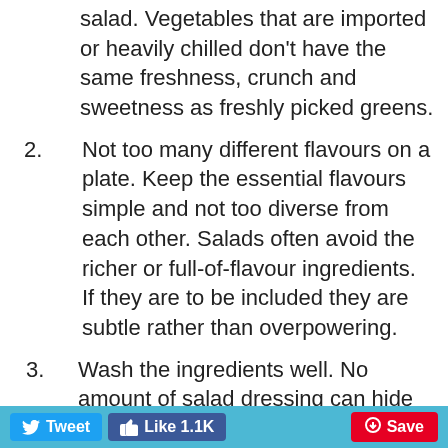salad. Vegetables that are imported or heavily chilled don't have the same freshness, crunch and sweetness as freshly picked greens.
2. Not too many different flavours on a plate. Keep the essential flavours simple and not too diverse from each other. Salads often avoid the richer or full-of-flavour ingredients. If they are to be included they are subtle rather than overpowering.
3. Wash the ingredients well. No amount of salad dressing can hide the taste and feel of sand or grit.
4. Dry the ingredients well to prevent soggy salad greens. Dressing can only cling to dry leaves, too much water on the greens or in the dressing can cause crisp greens to turn to mush, and will pickle rather than coat.
5. Cut vegetables up as close to serving time as possible, and not before as they will dry out and go
Tweet  Like 1.1K  Save